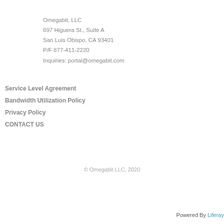Omegabit, LLC
697 Higuera St., Suite A
San Luis Obispo, CA 93401
P/F 877-411-2220
Inquiries: portal@omegabit.com
Service Level Agreement
Bandwidth Utilization Policy
Privacy Policy
CONTACT US
© Omegabit LLC, 2020
Powered By Liferay